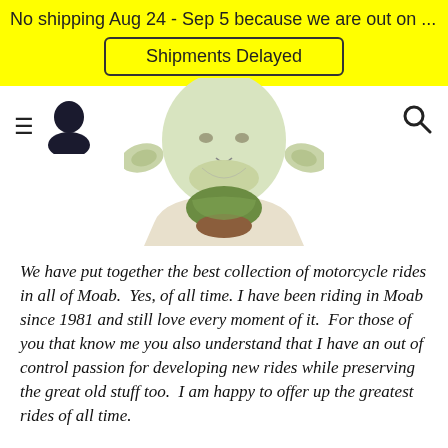No shipping Aug 24 - Sep 5 because we are out on ...
Shipments Delayed
[Figure (illustration): Cartoon Yoda-like character illustration showing head, ears, and torso with green collar and brown neckpiece]
We have put together the best collection of motorcycle rides in all of Moab. Yes, of all time. I have been riding in Moab since 1981 and still love every moment of it. For those of you that know me you also understand that I have an out of control passion for developing new rides while preserving the great old stuff too. I am happy to offer up the greatest rides of all time.